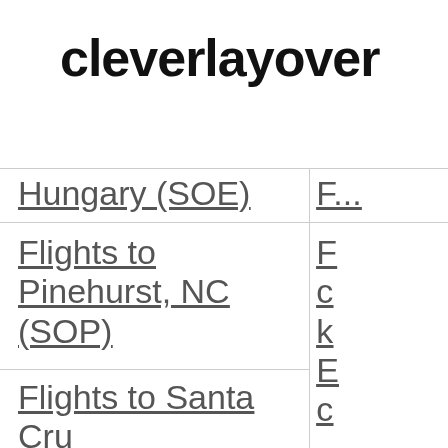cleverlayover
Flights to Pinehurst, NC (SOP)
Flights to Santa Cruz, CA